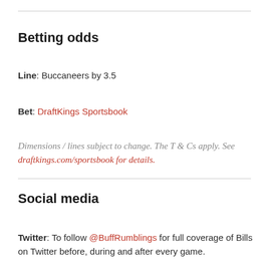Betting odds
Line: Buccaneers by 3.5
Bet: DraftKings Sportsbook
Dimensions / lines subject to change. The T & Cs apply. See draftkings.com/sportsbook for details.
Social media
Twitter: To follow @BuffRumblings for full coverage of Bills on Twitter before, during and after every game.